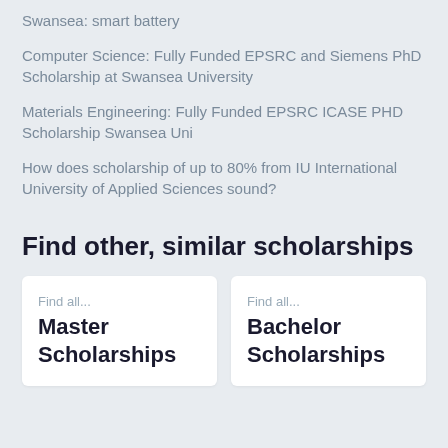Swansea: smart battery
Computer Science: Fully Funded EPSRC and Siemens PhD Scholarship at Swansea University
Materials Engineering: Fully Funded EPSRC ICASE PHD Scholarship Swansea Uni
How does scholarship of up to 80% from IU International University of Applied Sciences sound?
Find other, similar scholarships
Find all...
Master Scholarships
Find all...
Bachelor Scholarships